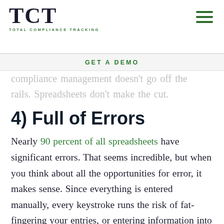TCT TOTAL COMPLIANCE TRACKING
GET A DEMO
compliance management doesn't go off the rails. Spreadsheets don't make the cut.
4) Full of Errors
Nearly 90 percent of all spreadsheets have significant errors. That seems incredible, but when you think about all the opportunities for error, it makes sense. Since everything is entered manually, every keystroke runs the risk of fat-fingering your entries, or entering information into the wrong cell. Macros become